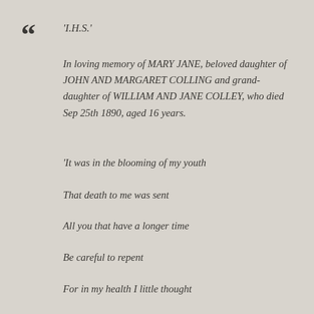‘I.H.S.’
In loving memory of MARY JANE, beloved daughter of JOHN AND MARGARET COLLING and grand-daughter of WILLIAM AND JANE COLLEY, who died Sep 25th 1890, aged 16 years.
‘It was in the blooming of my youth
That death to me was sent
All you that have a longer time
Be careful to repent
For in my health I little thought